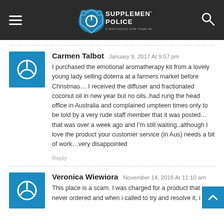Supplement Police — navigation header with hamburger menu, logo, and search icon
Carmen Talbot January 9, 2017 At 9:57 pm
I purchased the emotional aromatherapy kit from a lovely young lady selling doterra at a farmers market before Christmas… I received the diffuser and fractionated coconut oil in new year but no oils..had rung the head office in Australia and complained umpteen times only to be told by a very rude staff member that it was posted… that was over a week ago and I'm still waiting..although I love the product your customer service (in Aus) needs a bit of work…very disappointed
Reply
Veronica Wiewiora November 14, 2016 At 11:10 am
This place is a scam. I was charged for a product that i never ordered and when i called to try and resolve it, i